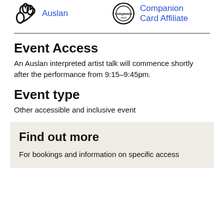[Figure (illustration): Auslan hand sign icon and Companion Card Affiliate logo arranged in two columns]
Auslan
Companion Card Affiliate
Event Access
An Auslan interpreted artist talk will commence shortly after the performance from 9:15–9:45pm.
Event type
Other accessible and inclusive event
Find out more
For bookings and information on specific access